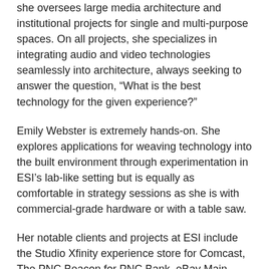she oversees large media architecture and institutional projects for single and multi-purpose spaces. On all projects, she specializes in integrating audio and video technologies seamlessly into architecture, always seeking to answer the question, “What is the best technology for the given experience?”
Emily Webster is extremely hands-on. She explores applications for weaving technology into the built environment through experimentation in ESI’s lab-like setting but is equally as comfortable in strategy sessions as she is with commercial-grade hardware or with a table saw.
Her notable clients and projects at ESI include the Studio Xfinity experience store for Comcast, The PNC Beacon for PNC Bank, eBay Main Street, the Statue of Liberty Museum, and many properties for Beacon Capital Partners.